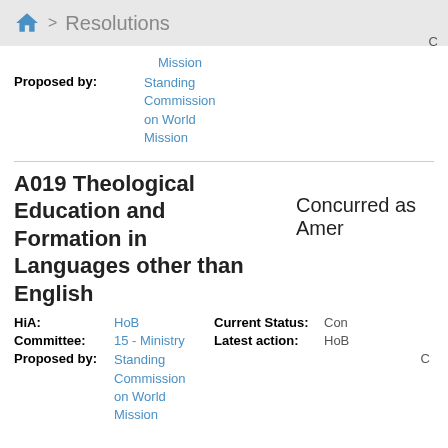🏠 > Resolutions
Mission
Proposed by: Standing Commission on World Mission
C
A019 Theological Education and Formation in Languages other than English
Concurred as Amer
HiA: HoB  Current Status: Con
Committee: 15 - Ministry  Latest action: HoB
Proposed by: Standing Commission on World Mission
C